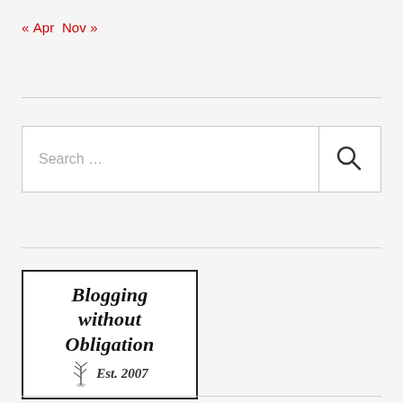« Apr  Nov »
[Figure (other): Search bar with text 'Search ...' and a magnifying glass icon button]
[Figure (logo): Blogging without Obligation Est. 2007 logo with decorative script text and a tree illustration, black border]